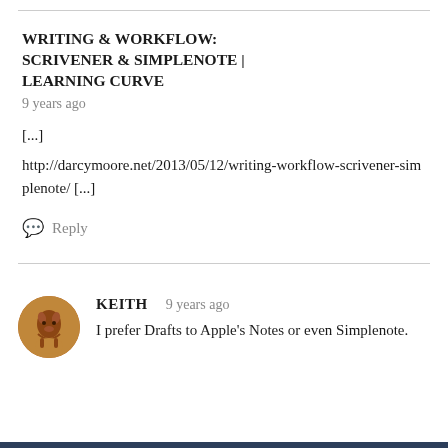WRITING & WORKFLOW: SCRIVENER & SIMPLENOTE | LEARNING CURVE
9 years ago
[...]
http://darcymoore.net/2013/05/12/writing-workflow-scrivener-simplenote/ [...]
Reply
KEITH
9 years ago
I prefer Drafts to Apple's Notes or even Simplenote.